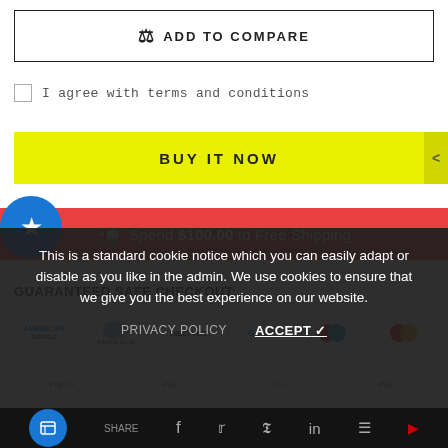⚖ ADD TO COMPARE
I agree with terms and conditions
BUY IT NOW
Spend $100.00 to Free Shipping
GUARANTEED SAFE CHECKOUT:
[Figure (other): Payment method logos: American Express, Diners Club, Discover, Google Pay, Mastercard, Mastercard]
This is a standard cookie notice which you can easily adapt or disable as you like in the admin. We use cookies to ensure that we give you the best experience on our website.
PRIVACY POLICY   ACCEPT ✓
[Figure (other): Social share icons row: share icon circle, facebook, twitter, pinterest, linkedin, buffer, youtube]